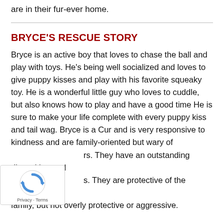are in their fur-ever home.
BRYCE'S RESCUE STORY
Bryce is an active boy that loves to chase the ball and play with toys. He's being well socialized and loves to give puppy kisses and play with his favorite squeaky toy. He is a wonderful little guy who loves to cuddle, but also knows how to play and have a good time He is sure to make your life complete with every puppy kiss and tail wag. Bryce is a Cur and is very responsive to kindness and are family-oriented but wary of strangers. They have an outstanding disposition and instincts. They are protective of the property and family, but not overly protective or aggressive.